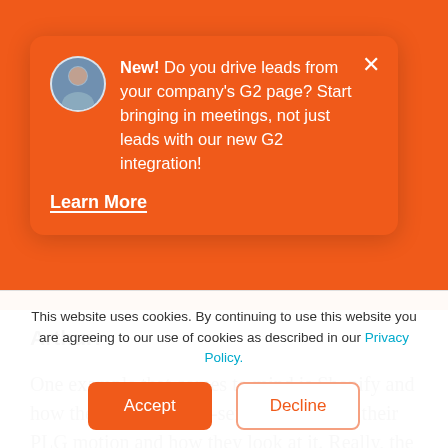[Figure (screenshot): Notification popup card on orange background. Shows a circular avatar photo of a woman, bold 'New!' text followed by message about G2 page and integration, a 'Learn More' underlined link, and an X close button in the top right corner.]
Arthur:
One example that comes to mind is Shopify and how they use their self-serve funnel with their PLG motion and how they look at it. Really, the main goal is to just unstick that user wherever they happen to be
This website uses cookies. By continuing to use this website you are agreeing to our use of cookies as described in our Privacy Policy.